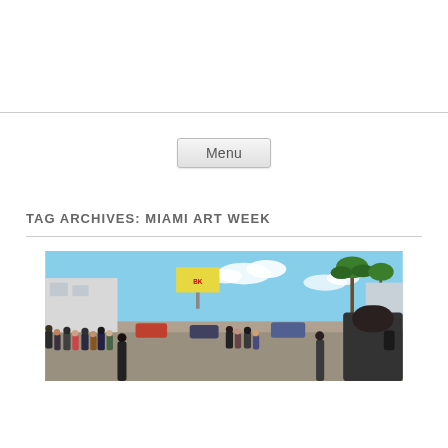Menu
TAG ARCHIVES: MIAMI ART WEEK
[Figure (photo): Outdoor street scene showing a large crowd of people gathered on a busy street in Miami, with palm trees, buildings, a billboard, and parked cars visible in the background under a blue sky.]